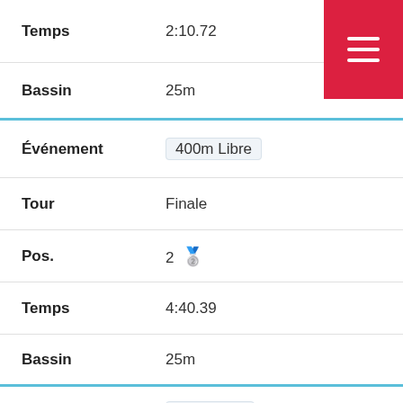Temps: 2:10.72
Bassin: 25m
Événement: 400m Libre
Tour: Finale
Pos.: 2 🥈
Temps: 4:40.39
Bassin: 25m
Événement: 200m Dos
Tour: Finale